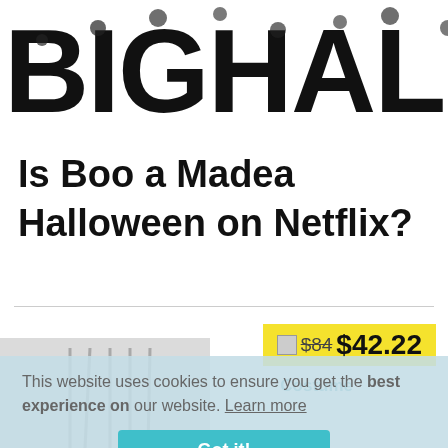BIGHALLOW
Is Boo a Madea Halloween on Netflix?
[Figure (screenshot): Cookie consent banner overlay with price tag showing $84 crossed out and $42.22 in yellow, a costume image partially visible, and a 'Got it!' button in teal. Text reads: 'This website uses cookies to ensure you get the best experience on our website. Learn more']